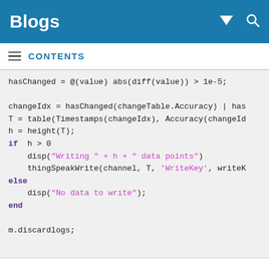Blogs
CONTENTS
[Figure (screenshot): MATLAB code block showing hasChanged, changeIdx, T, h, if/else/end logic with thingSpeakWrite and disp calls, and m.discardlogs]
Also, here is the visualization code I used to plot our course continually during the race:
[Figure (screenshot): MATLAB code block starting with: dawnOfTime = datetime(2000,1,1);]